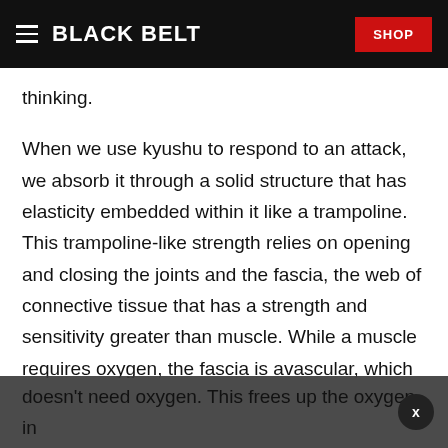BLACK BELT | SHOP
thinking.
When we use kyushu to respond to an attack, we absorb it through a solid structure that has elasticity embedded within it like a trampoline. This trampoline-like strength relies on opening and closing the joints and the fascia, the web of connective tissue that has a strength and sensitivity greater than muscle. While a muscle requires oxygen, the fascia is avascular, which means it doesn't have blood vessels because it doesn't need oxygen. This frees up the oxygen in